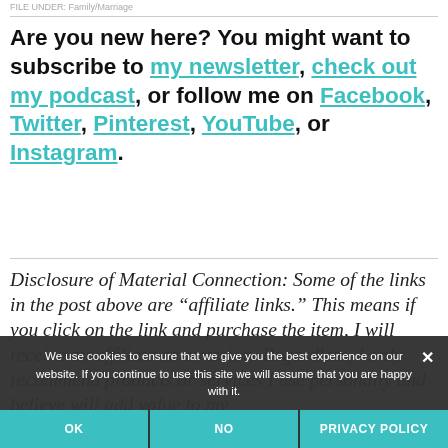FILE UNDER: Family/Marriage
Are you new here? You might want to subscribe to my newsletter, check out my podcast, or follow me on Facebook, Twitter, Pinterest, YouTube, or Instagram.
Disclosure of Material Connection: Some of the links in the post above are “affiliate links.” This means if you click on the link and purchase the item, I will receive an affiliate commission. Regardless, I only recommend products or services I use personally and believe will add value to my
We use cookies to ensure that we give you the best experience on our website. If you continue to use this site we will assume that you are happy with it.